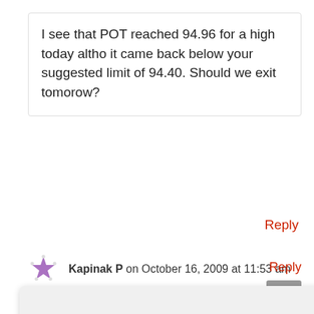I see that POT reached 94.96 for a high today altho it came back below your suggested limit of 94.40. Should we exit tomorow?
Reply
Kapinak P on October 16, 2009 at 11:53 am
This website stores data such as cookies to enable essential site functionality, as well as marketing, personalization, and analytics. By remaining on this website you indicate your consent. Learn more
Got it!
ery
Reply
Genius on October 16, 2009 at 1:31 pm